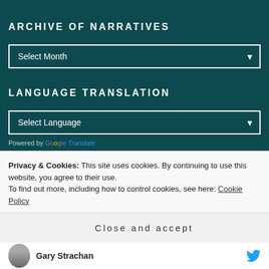ARCHIVE OF NARRATIVES
[Figure (screenshot): Select Month dropdown widget with white border on dark teal background]
LANGUAGE TRANSLATION
[Figure (screenshot): Select Language dropdown widget with white border on dark teal background]
Powered by Google Translate
Privacy & Cookies: This site uses cookies. By continuing to use this website, you agree to their use. To find out more, including how to control cookies, see here: Cookie Policy
Close and accept
Gary Strachan